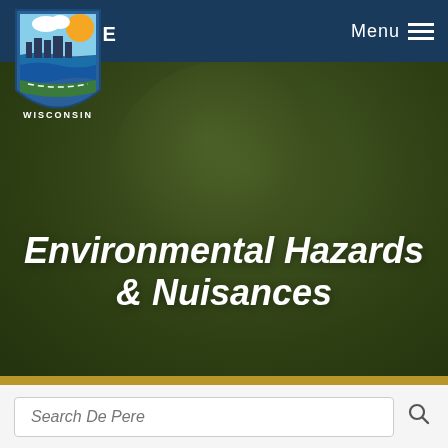DE PERE | Menu
[Figure (screenshot): City of De Pere Wisconsin government website hero image with dark olive green background and sphere overlay]
Environmental Hazards & Nuisances
Search De Pere